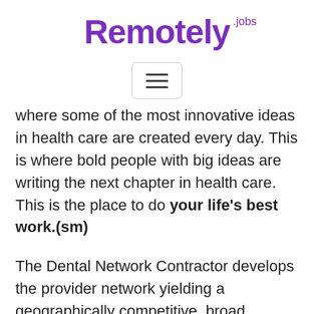Remotely.jobs
[Figure (other): Hamburger menu button icon with three horizontal lines inside a rounded rectangle border]
where some of the most innovative ideas in health care are created every day. This is where bold people with big ideas are writing the next chapter in health care. This is the place to do your life's best work.(sm)
The Dental Network Contractor develops the provider network yielding a geographically competitive, broad access, stable network that achieves objectives for unit cost performance and trend